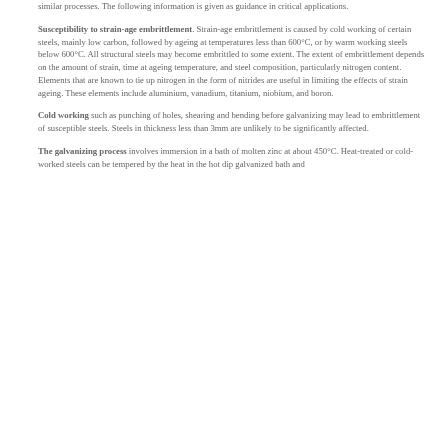similar processes. The following information is given as guidance in critical applications.
Susceptibility to strain-age embrittlement. Strain-age embrittlement is caused by cold working of certain steels, mainly low carbon, followed by ageing at temperatures less than 600°C, or by warm working steels below 600°C. All structural steels may become embrittled to some extent. The extent of embrittlement depends on the amount of strain, time at ageing temperature, and steel composition, particularly nitrogen content. Elements that are known to tie up nitrogen in the form of nitrides are useful in limiting the effects of strain ageing. These elements include aluminium, vanadium, titanium, niobium, and boron.
Cold working such as punching of holes, shearing and bending before galvanizing may lead to embrittlement of susceptible steels. Steels in thickness less than 3mm are unlikely to be significantly affected.
The galvanizing process involves immersion in a bath of molten zinc at about 450°C. Heat-treated or cold-worked steels can be tempered by the heat in the hot dip galvanized bath and